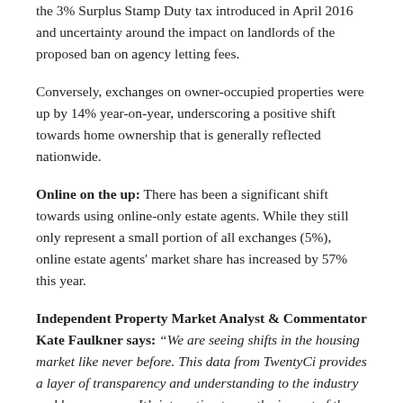the 3% Surplus Stamp Duty tax introduced in April 2016 and uncertainty around the impact on landlords of the proposed ban on agency letting fees.
Conversely, exchanges on owner-occupied properties were up by 14% year-on-year, underscoring a positive shift towards home ownership that is generally reflected nationwide.
Online on the up: There has been a significant shift towards using online-only estate agents. While they still only represent a small portion of all exchanges (5%), online estate agents' market share has increased by 57% this year.
Independent Property Market Analyst & Commentator Kate Faulkner says: “We are seeing shifts in the housing market like never before. This data from TwentyCi provides a layer of transparency and understanding to the industry and homemovers. It’s interesting to see the impact of the government tax hikes on the landlord market. Although it may appear ‘good news’ initially that there are fewer buy-to-